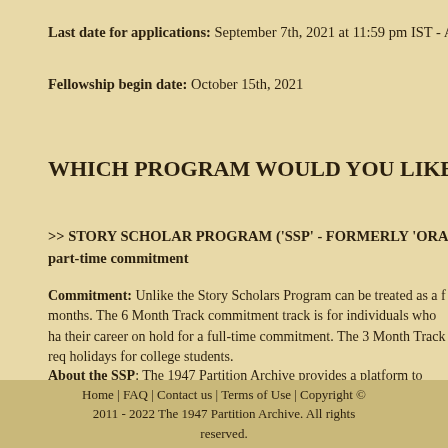Last date for applications: September 7th, 2021 at 11:59 pm IST - A
Fellowship begin date: October 15th, 2021
WHICH PROGRAM WOULD YOU LIKE TO CHOOS
>> STORY SCHOLAR PROGRAM ('SSP' - FORMERLY 'ORA part-time commitment
Commitment: Unlike the Story Scholars Program can be treated as a f months. The 6 Month Track commitment track is for individuals who ha their career on hold for a full-time commitment. The 3 Month Track req holidays for college students.
About the SSP: The 1947 Partition Archive provides a platform to reco the globe. We want to educate the world on Partition, especially throug
Home | FAQ | Contact us | Terms of Use | Copyright © 2011 - 2022 The 1947 Partition Archive. All rights reserved.